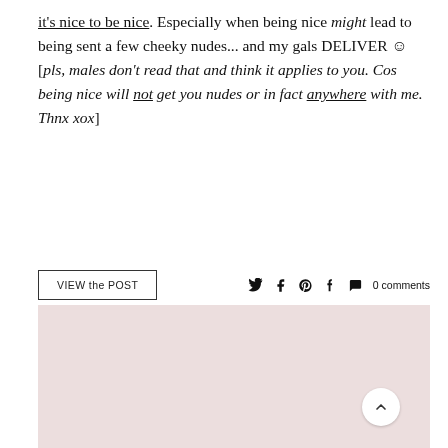it's nice to be nice. Especially when being nice might lead to being sent a few cheeky nudes... and my gals DELIVER ☺ [pls, males don't read that and think it applies to you. Cos being nice will not get you nudes or in fact anywhere with me. Thnx xox]
VIEW the POST  ♥ f ⊕ t ○ 0 comments
[Figure (other): Pink/rose-colored rectangular background block at the bottom of the page with a white circular scroll-to-top button in the lower right corner.]